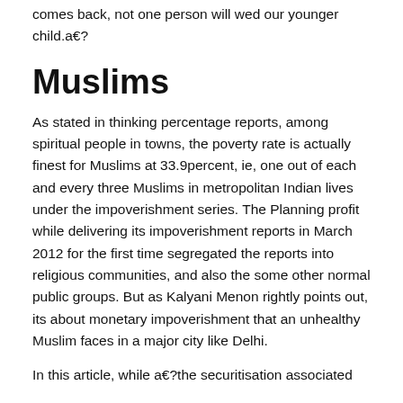comes back, not one person will wed our younger child.a€?
Muslims
As stated in thinking percentage reports, among spiritual people in towns, the poverty rate is actually finest for Muslims at 33.9percent, ie, one out of each and every three Muslims in metropolitan Indian lives under the impoverishment series. The Planning profit while delivering its impoverishment reports in March 2012 for the first time segregated the reports into religious communities, and also the some other normal public groups. But as Kalyani Menon rightly points out, its about monetary impoverishment that an unhealthy Muslim faces in a major city like Delhi.
In this article, while a€?the securitisation associated